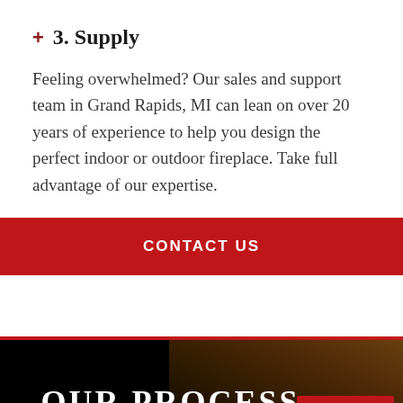+ 3. Supply
Feeling overwhelmed? Our sales and support team in Grand Rapids, MI can lean on over 20 years of experience to help you design the perfect indoor or outdoor fireplace. Take full advantage of our expertise.
CONTACT US
OUR PROCESS